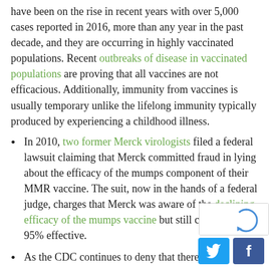have been on the rise in recent years with over 5,000 cases reported in 2016, more than any year in the past decade, and they are occurring in highly vaccinated populations. Recent outbreaks of disease in vaccinated populations are proving that all vaccines are not efficacious. Additionally, immunity from vaccines is usually temporary unlike the lifelong immunity typically produced by experiencing a childhood illness.
In 2010, two former Merck virologists filed a federal lawsuit claiming that Merck committed fraud in lying about the efficacy of the mumps component of their MMR vaccine. The suit, now in the hands of a federal judge, charges that Merck was aware of the declining efficacy of the mumps vaccine but still claimed it was 95% effective.
As the CDC continues to deny that there is a [continues below]...